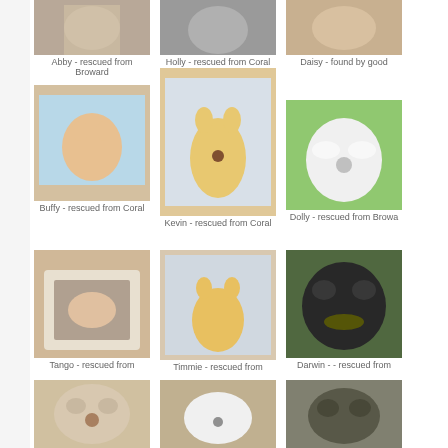[Figure (photo): Pet photo - Abby, a dog]
Abby - rescued from Broward
[Figure (photo): Pet photo - Holly, a cat]
Holly - rescued from Coral
[Figure (photo): Pet photo - Daisy]
Daisy - found by good
[Figure (photo): Pet photo - Buffy, an orange kitten]
Buffy - rescued from Coral
[Figure (photo): Pet photo - Kevin, an orange kitten]
Kevin - rescued from Coral
[Figure (photo): Pet photo - Dolly, a white dog]
Dolly - rescued from Browa
[Figure (photo): Pet photo - Tango, an orange and white cat in a box]
Tango - rescued from
[Figure (photo): Pet photo - Timmie, an orange kitten]
Timmie - rescued from
[Figure (photo): Pet photo - Darwin, a black dog with a yellow item in mouth]
Darwin - - rescued from
[Figure (photo): Pet photo - small fluffy dog]
[Figure (photo): Pet photo - black and white kitten]
[Figure (photo): Pet photo - small dark puppy]